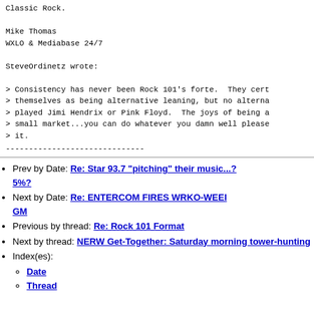Classic Rock.
Mike Thomas
WXLO & Mediabase 24/7
SteveOrdinetz wrote:
> Consistency has never been Rock 101's forte.  They cert
> themselves as being alternative leaning, but no alterna
> played Jimi Hendrix or Pink Floyd.  The joys of being a
> small market...you can do whatever you damn well please
> it.
------------------------------
Prev by Date: Re: Star 93.7 "pitching" their music...? 5%?
Next by Date: Re: ENTERCOM FIRES WRKO-WEEI GM
Previous by thread: Re: Rock 101 Format
Next by thread: NERW Get-Together: Saturday morning tower-hunting
Index(es):
Date
Thread